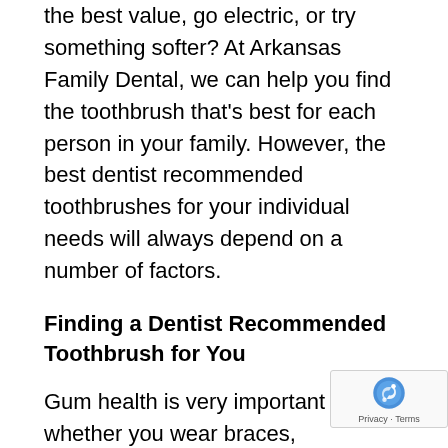the best value, go electric, or try something softer? At Arkansas Family Dental, we can help you find the toothbrush that's best for each person in your family. However, the best dentist recommended toothbrushes for your individual needs will always depend on a number of factors.
Finding a Dentist Recommended Toothbrush for You
Gum health is very important whether you wear braces, experience sensitivity, or have dental veneers. For this reason, we most consistently recommend a toothbrush with soft bristles for a deep clean that removes